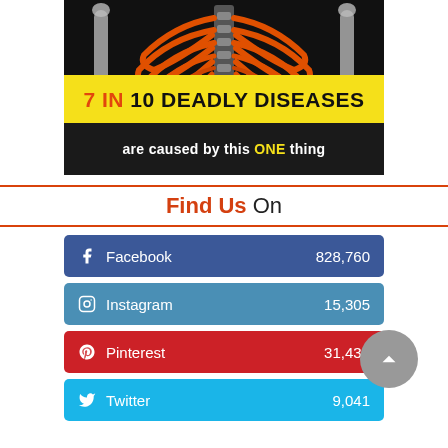[Figure (illustration): Medical infographic showing a human rib cage / skeleton illustration on dark background with text overlay: '7 IN 10 DEADLY DISEASES are caused by this ONE thing']
Find Us On
| Platform | Followers |
| --- | --- |
| Facebook | 828,760 |
| Instagram | 15,305 |
| Pinterest | 31,434 |
| Twitter | 9,041 |